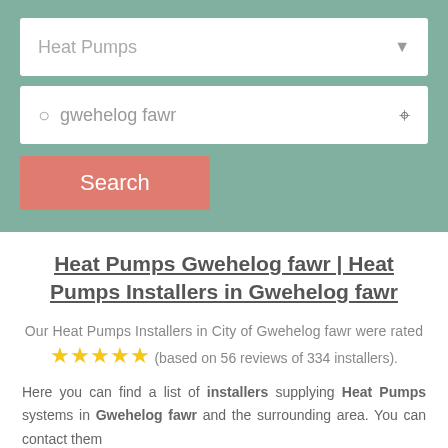[Figure (screenshot): Search interface with 'Heat Pumps' dropdown, 'gwehelog fawr' location input, and a red Search button, on a teal/green background]
Heat Pumps Gwehelog fawr | Heat Pumps Installers in Gwehelog fawr
Our Heat Pumps Installers in City of Gwehelog fawr were rated ★★★★★ (based on 56 reviews of 334 installers).
Here you can find a list of installers supplying Heat Pumps systems in Gwehelog fawr and the surrounding area. You can contact them